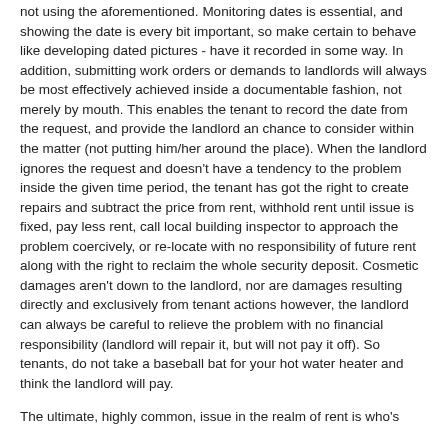not using the aforementioned. Monitoring dates is essential, and showing the date is every bit important, so make certain to behave like developing dated pictures - have it recorded in some way. In addition, submitting work orders or demands to landlords will always be most effectively achieved inside a documentable fashion, not merely by mouth. This enables the tenant to record the date from the request, and provide the landlord an chance to consider within the matter (not putting him/her around the place). When the landlord ignores the request and doesn't have a tendency to the problem inside the given time period, the tenant has got the right to create repairs and subtract the price from rent, withhold rent until issue is fixed, pay less rent, call local building inspector to approach the problem coercively, or re-locate with no responsibility of future rent along with the right to reclaim the whole security deposit. Cosmetic damages aren't down to the landlord, nor are damages resulting directly and exclusively from tenant actions however, the landlord can always be careful to relieve the problem with no financial responsibility (landlord will repair it, but will not pay it off). So tenants, do not take a baseball bat for your hot water heater and think the landlord will pay.
The ultimate, highly common, issue in the realm of rent is who's